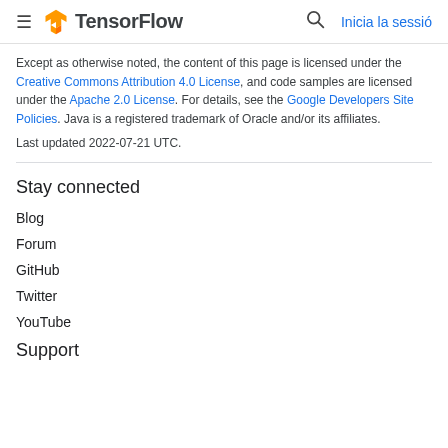TensorFlow — Inicia la sessió
Except as otherwise noted, the content of this page is licensed under the Creative Commons Attribution 4.0 License, and code samples are licensed under the Apache 2.0 License. For details, see the Google Developers Site Policies. Java is a registered trademark of Oracle and/or its affiliates.
Last updated 2022-07-21 UTC.
Stay connected
Blog
Forum
GitHub
Twitter
YouTube
Support